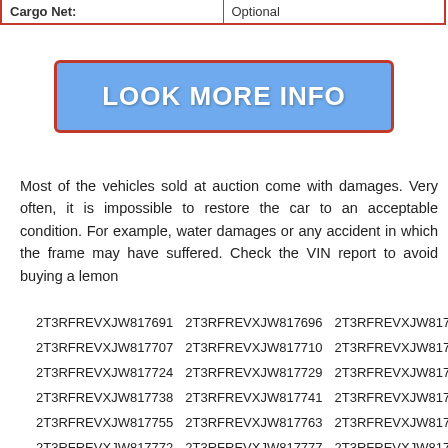| Cargo Net: | Optional |
| --- | --- |
[Figure (other): Blue button with red border labeled LOOK MORE INFO]
Most of the vehicles sold at auction come with damages. Very often, it is impossible to restore the car to an acceptable condition. For example, water damages or any accident in which the frame may have suffered. Check the VIN report to avoid buying a lemon
| 2T3RFREVXJW817691 | 2T3RFREVXJW817696 | 2T3RFREVXJW817701 |
| 2T3RFREVXJW817707 | 2T3RFREVXJW817710 | 2T3RFREVXJW817715 |
| 2T3RFREVXJW817724 | 2T3RFREVXJW817729 | 2T3RFREVXJW817732 |
| 2T3RFREVXJW817738 | 2T3RFREVXJW817741 | 2T3RFREVXJW817746 |
| 2T3RFREVXJW817755 | 2T3RFREVXJW817763 | 2T3RFREVXJW817769 |
| 2T3RFREVXJW817772 | 2T3RFREVXJW817777 | 2T3RFREVXJW817780 |
| 2T3RFREVXJW817786 | 2T3RFREVXJW817794 | 2T3RFREVXJW817805 |